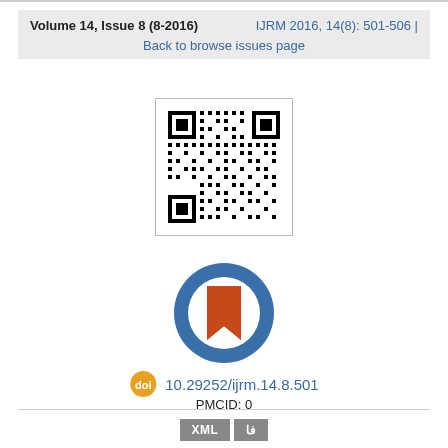Volume 14, Issue 8 (8-2016)    IJRM 2016, 14(8): 501-506 |
Back to browse issues page
[Figure (other): QR code image inside a bordered box]
[Figure (logo): DOI registration agency logo: blue ring with red bookmark inside]
10.29252/ijrm.14.8.501
PMCID: 0
XML   فا